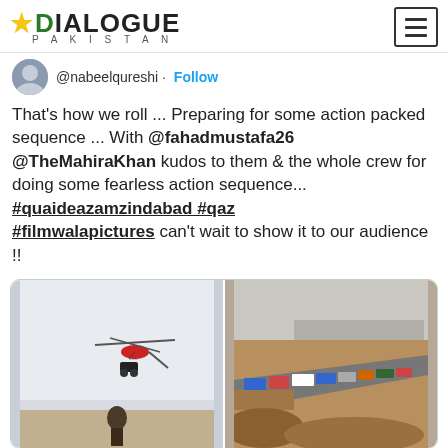DIALOGUE PAKISTAN
@nabeelqureshi · Follow
That's how we roll ... Preparing for some action packed sequence ... With @fahadmustafa26 @TheMahiraKhan kudos to them & the whole crew for doing some fearless action sequence... #quaideazamzindabad #qaz #filmwalapictures can't wait to show it to our audience !!
[Figure (photo): Left: A helicopter or gyrocopter with a motorbike stunt in mid-air against a white sky, with a person visible below. Right: Aerial view of a highway with trucks and vehicles lined up, dust terrain, city in background.]